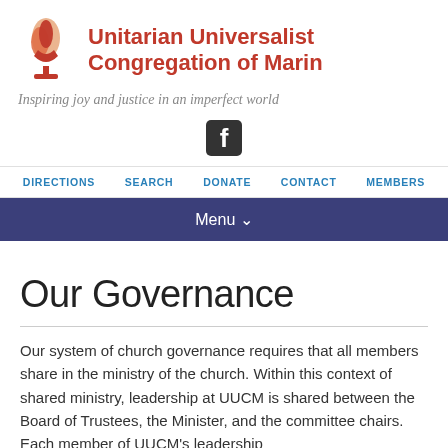Unitarian Universalist Congregation of Marin
Inspiring joy and justice in an imperfect world
[Figure (logo): Facebook social media icon]
DIRECTIONS  SEARCH  DONATE  CONTACT  MEMBERS
Menu
Our Governance
Our system of church governance requires that all members share in the ministry of the church. Within this context of shared ministry, leadership at UUCM is shared between the Board of Trustees, the Minister, and the committee chairs. Each member of UUCM's leadership